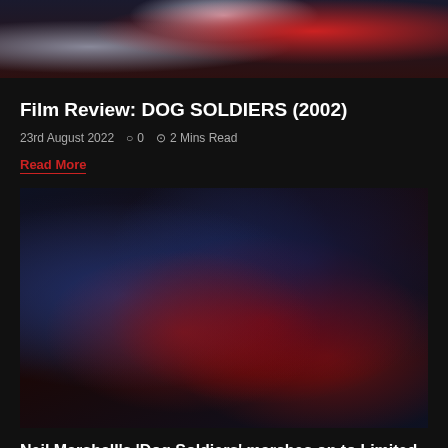[Figure (illustration): Dark stylized horror illustration with red and blue/silver tones, featuring abstract figures and dramatic action. Top portion of Dog Soldiers 2002 film artwork.]
Film Review: DOG SOLDIERS (2002)
23rd August 2022   0   2 Mins Read
Read More
[Figure (illustration): Dark stylized horror illustration with red, dark blue and black tones, showing dramatic chaotic scene. Second Dog Soldiers artwork image, darker and more detailed.]
Neil Marshall's 'Dog Soldiers' marches on to Limited Edition 4K UHD/Blu-ray + Standard